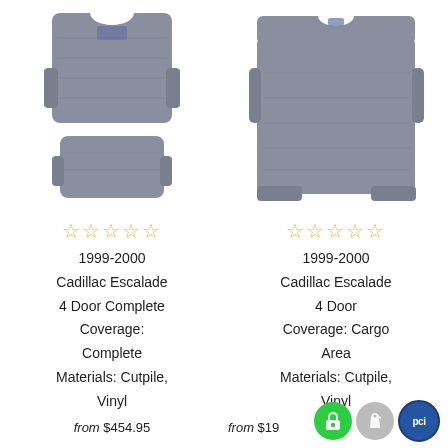[Figure (photo): Left product: carpet set for 1999-2000 Cadillac Escalade, two gray cut-pile carpet pieces (front and rear) shown on white background]
[Figure (photo): Right product: cargo area carpet for 1999-2000 Cadillac Escalade, single large gray cut-pile carpet piece shown on white background]
☆☆☆☆☆
1999-2000
Cadillac Escalade
4 Door Complete
Coverage:
Complete
Materials: Cutpile,
Vinyl
☆☆☆☆☆
1999-2000
Cadillac Escalade
4 Door
Coverage: Cargo
Area
Materials: Cutpile,
Vinyl
from $454.95
from $19